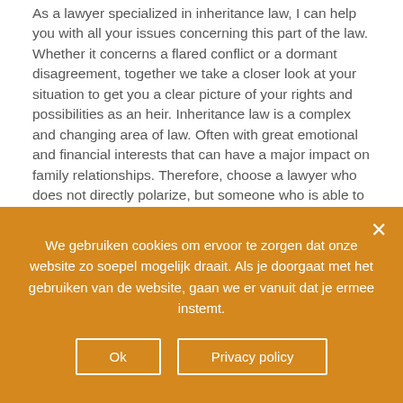As a lawyer specialized in inheritance law, I can help you with all your issues concerning this part of the law. Whether it concerns a flared conflict or a dormant disagreement, together we take a closer look at your situation to get you a clear picture of your rights and possibilities as an heir. Inheritance law is a complex and changing area of law. Often with great emotional and financial interests that can have a major impact on family relationships. Therefore, choose a lawyer who does not directly polarize, but someone who is able to represent your interests without immediately antagonizing the rest of the heirs.
For example you can contact me with questions about:
We gebruiken cookies om ervoor te zorgen dat onze website zo soepel mogelijk draait. Als je doorgaat met het gebruiken van de website, gaan we er vanuit dat je ermee instemt.